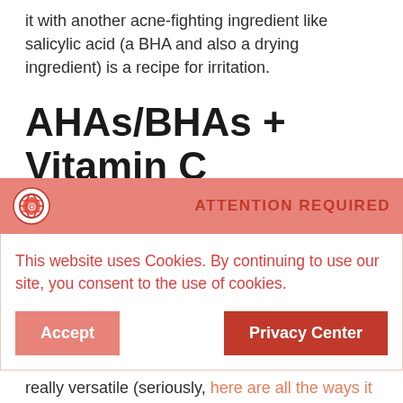it with another acne-fighting ingredient like salicylic acid (a BHA and also a drying ingredient) is a recipe for irritation.
AHAs/BHAs + Vitamin C
Both exfoliating acids and vitamin C are quite acidic, so applying both at the same time can disrupt your skin's natural pH levels leading to a damaged moisture barrier.
Niacinamide
really versatile (seriously, here are all the ways it can
[Figure (screenshot): Cookie consent banner overlay with red/salmon header bar showing globe icon and 'ATTENTION REQUIRED' text, white body with cookie notice text in red, and two buttons: 'Accept' (salmon) and 'Privacy Center' (dark red).]